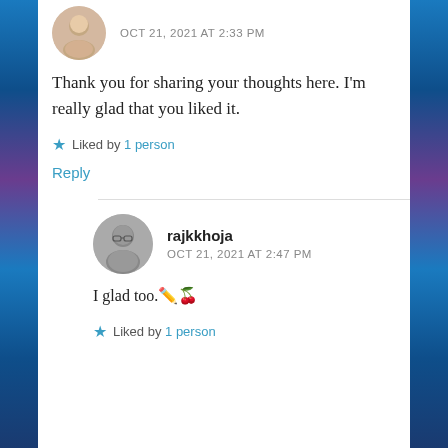[Figure (photo): Circular avatar of a person (first commenter)]
OCT 21, 2021 AT 2:33 PM
Thank you for sharing your thoughts here. I'm really glad that you liked it.
★ Liked by 1 person
Reply
[Figure (photo): Circular avatar of rajkkhoja (child with glasses)]
rajkkhoja
OCT 21, 2021 AT 2:47 PM
I glad too.✏️🌷
★ Liked by 1 person